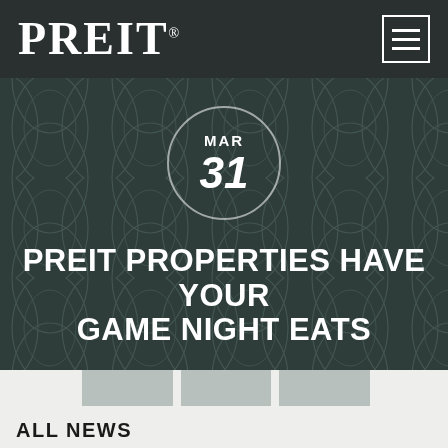PREIT®
[Figure (other): Dark teal decorative background with repeating oval/circle pattern overlay]
MAR 31
PREIT PROPERTIES HAVE YOUR GAME NIGHT EATS
ALL NEWS